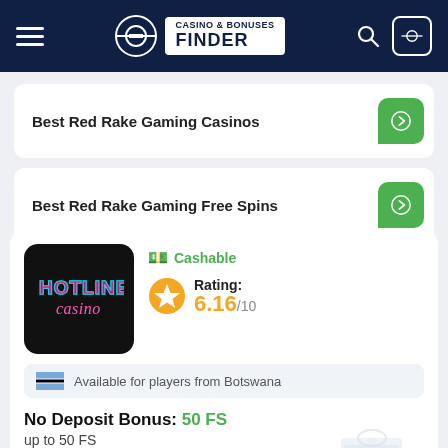Casino & Bonuses Finder
Best Red Rake Gaming Casinos
Best Red Rake Gaming Free Spins
[Figure (logo): Hotline Casino logo - black background with neon text]
Cashable
Rating: 6.16/10
Available for players from Botswana
No Deposit Bonus: 50 FS
up to 50 FS
Hotline Casino